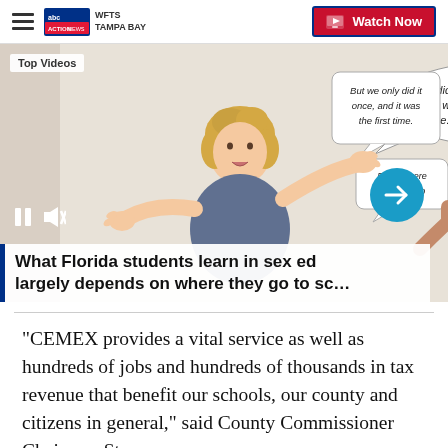WFTS TAMPA BAY | Watch Now
[Figure (screenshot): Video thumbnail showing an illustrated cartoon figure of a woman with arms outstretched with speech bubbles reading 'But we only did it once, and it was the first time.' and 'But we were standing up'. Top-left label: 'Top Videos'. Play controls (pause, mute) at bottom-left. Blue arrow navigation button at bottom-right.]
What Florida students learn in sex ed largely depends on where they go to sc…
"CEMEX provides a vital service as well as hundreds of jobs and hundreds of thousands in tax revenue that benefit our schools, our county and citizens in general," said County Commissioner Chairman Steve